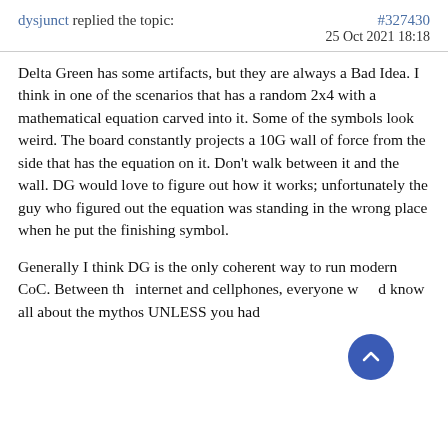dysjunct replied the topic:   #327430
25 Oct 2021 18:18
Delta Green has some artifacts, but they are always a Bad Idea. I think in one of the scenarios that has a random 2x4 with a mathematical equation carved into it. Some of the symbols look weird. The board constantly projects a 10G wall of force from the side that has the equation on it. Don't walk between it and the wall. DG would love to figure out how it works; unfortunately the guy who figured out the equation was standing in the wrong place when he put the finishing symbol.
Generally I think DG is the only coherent way to run modern CoC. Between the internet and cellphones, everyone would know all about the mythos UNLESS you had